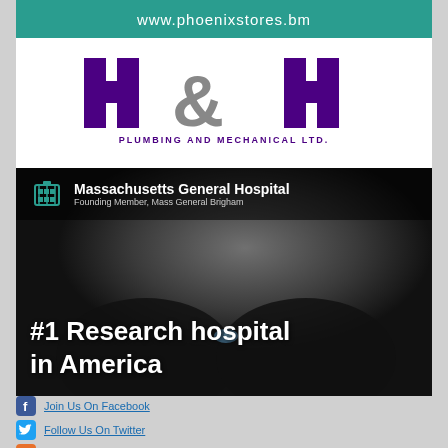www.phoenixstores.bm
[Figure (logo): H&H Plumbing and Mechanical Ltd. logo with purple block letters and grey ampersand]
[Figure (photo): Massachusetts General Hospital ad showing researcher holding sample with text '#1 Research hospital in America']
Join Us On Facebook
Follow Us On Twitter
Subscribe To Our RSS Feeds